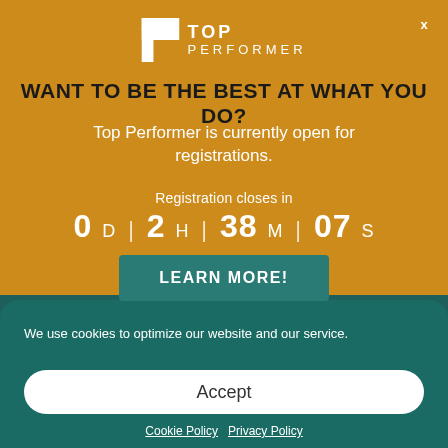[Figure (logo): Top Performer logo: white P icon with 'TOP PERFORMER' text in white on golden background]
WANT TO BE THE BEST AT WHAT YOU DO?
Top Performer is currently open for registrations.
Registration closes in 0 D | 2 H | 38 M | 07 S
LEARN MORE!
We use cookies to optimize our website and our service.
Accept
Cookie Policy  Privacy Policy